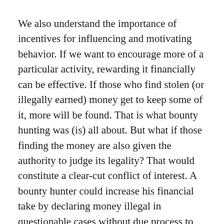We also understand the importance of incentives for influencing and motivating behavior. If we want to encourage more of a particular activity, rewarding it financially can be effective. If those who find stolen (or illegally earned) money get to keep some of it, more will be found. That is what bounty hunting was (is) all about. But what if those finding the money are also given the authority to judge its legality? That would constitute a clear-cut conflict of interest. A bounty hunter could increase his financial take by declaring money illegal in questionable cases without due process to protect the innocent.